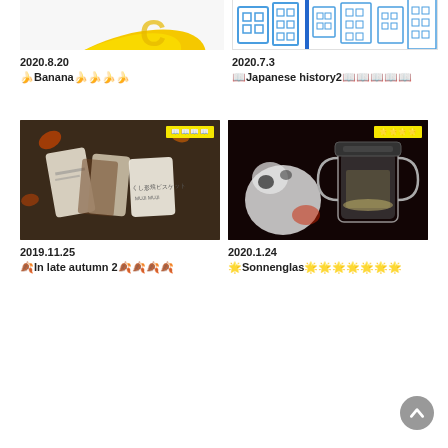[Figure (photo): Partial banana illustration - yellow banana shape with letter C, cropped at top]
2020.8.20
️Banana️️️️
[Figure (illustration): Japanese map/history illustration with buildings and landmarks, cropped at top]
2020.7.3
️Japanese history2️️️️️
[Figure (photo): Snack/biscuit packages on floral fabric background, with yellow badge label]
2019.11.25
️In late autumn 2️️️️
[Figure (photo): Glass jar (Sonnenglas) on dark background with plush toy, with yellow badge label]
2020.1.24
️Sonnenglas️️️️️️️